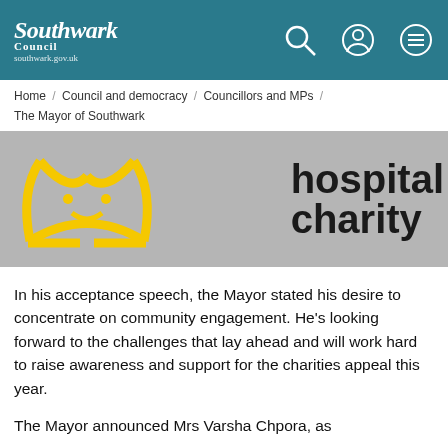Southwark Council southwark.gov.uk
Home / Council and democracy / Councillors and MPs / The Mayor of Southwark
[Figure (logo): Hospital charity logo with yellow crown icon on grey background and bold text reading 'hospital charity']
In his acceptance speech, the Mayor stated his desire to concentrate on community engagement. He's looking forward to the challenges that lay ahead and will work hard to raise awareness and support for the charities appeal this year.
The Mayor announced Mrs Varsha Chpora, as his Mayoress for the year. Councillor Michael Situ...